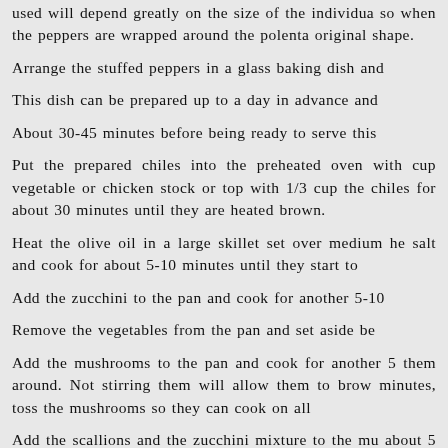used will depend greatly on the size of the individua so when the peppers are wrapped around the polenta original shape.
Arrange the stuffed peppers in a glass baking dish and
This dish can be prepared up to a day in advance and
About 30-45 minutes before being ready to serve this
Put the prepared chiles into the preheated oven with cup vegetable or chicken stock or top with 1/3 cup the chiles for about 30 minutes until they are heated brown.
Heat the olive oil in a large skillet set over medium he salt and cook for about 5-10 minutes until they start to
Add the zucchini to the pan and cook for another 5-10
Remove the vegetables from the pan and set aside be
Add the mushrooms to the pan and cook for another 5 them around. Not stirring them will allow them to brow minutes, toss the mushrooms so they can cook on all
Add the scallions and the zucchini mixture to the mu about 5 minutes to be sure everything is heated throu